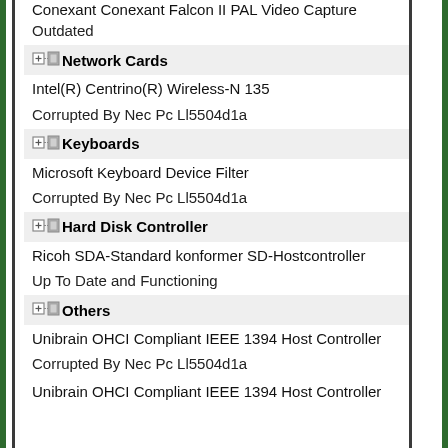Conexant Conexant Falcon II PAL Video Capture
Outdated
Network Cards
Intel(R) Centrino(R) Wireless-N 135
Corrupted By Nec Pc Ll5504d1a
Keyboards
Microsoft Keyboard Device Filter
Corrupted By Nec Pc Ll5504d1a
Hard Disk Controller
Ricoh SDA-Standard konformer SD-Hostcontroller
Up To Date and Functioning
Others
Unibrain OHCI Compliant IEEE 1394 Host Controller
Corrupted By Nec Pc Ll5504d1a
Unibrain OHCI Compliant IEEE 1394 Host Controller